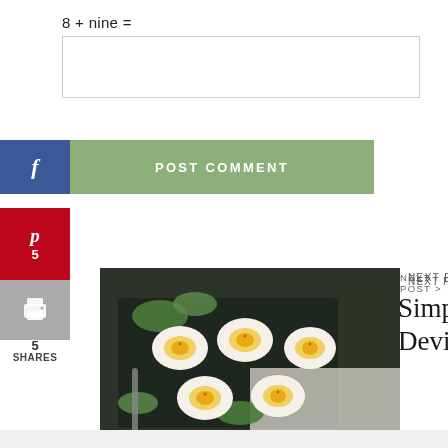8 + nine =
[input field]
POST COMMENT
f
p 5
print icon 5 SHARES
NEXT POST >
Simple and Easy Devilled Eggs
[Figure (photo): Devilled eggs on a dark tray with green leaves, photographed from above]